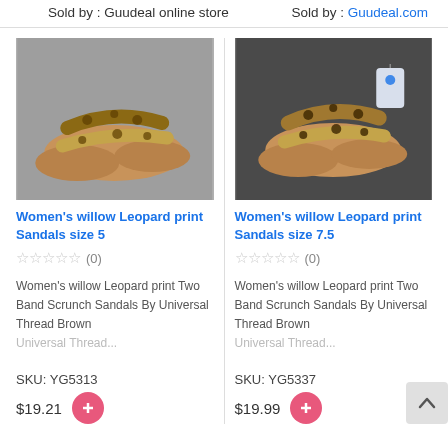Sold by : Guudeal online store
Sold by : Guudeal.com
[Figure (photo): Women's willow Leopard print sandals size 5 - brown sandals with leopard print straps on gray background]
[Figure (photo): Women's willow Leopard print sandals size 7.5 - brown sandals with leopard print straps on dark background with tag]
Women's willow Leopard print Sandals size 5
Women's willow Leopard print Sandals size 7.5
☆☆☆☆☆ (0)
☆☆☆☆☆ (0)
Women's willow Leopard print Two Band Scrunch Sandals By Universal Thread Brown
Women's willow Leopard print Two Band Scrunch Sandals By Universal Thread Brown
Universal Thread...
Universal Thread...
SKU: YG5313
SKU: YG5337
$19.21
$19.99